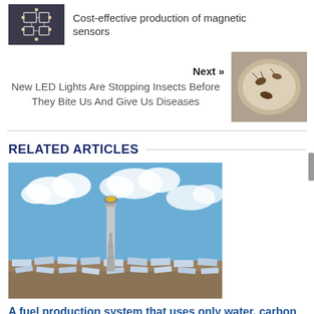[Figure (photo): Circuit board / magnetic sensor schematic thumbnail]
Cost-effective production of magnetic sensors
Next »
New LED Lights Are Stopping Insects Before They Bite Us And Give Us Diseases
[Figure (photo): Insects / bugs in petri dish thumbnail]
RELATED ARTICLES
[Figure (photo): Solar tower and concentrating solar panels under blue sky]
A fuel production system that uses only water, carbon dioxide and sunlight to produce aviation fuel
July 21, 2022
[Figure (photo): Partial image at bottom of page]